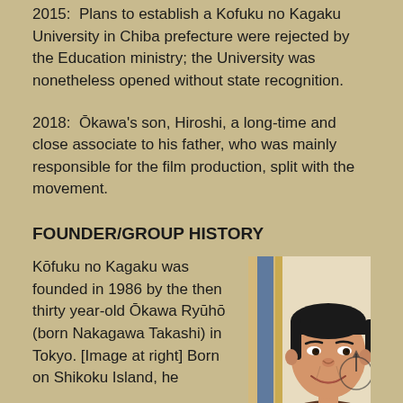2015: Plans to establish a Kofuku no Kagaku University in Chiba prefecture were rejected by the Education ministry; the University was nonetheless opened without state recognition.
2018: Ōkawa's son, Hiroshi, a long-time and close associate to his father, who was mainly responsible for the film production, split with the movement.
FOUNDER/GROUP HISTORY
Kōfuku no Kagaku was founded in 1986 by the then thirty year-old Ōkawa Ryūhō (born Nakagawa Takashi) in Tokyo. [Image at right] Born on Shikoku Island, he
[Figure (photo): Photo of Ōkawa Ryūhō, a middle-aged Japanese man smiling, wearing a brown jacket with a decorative sash/stole. He is photographed in front of what appears to be an ornate backdrop with vertical gold and blue elements.]